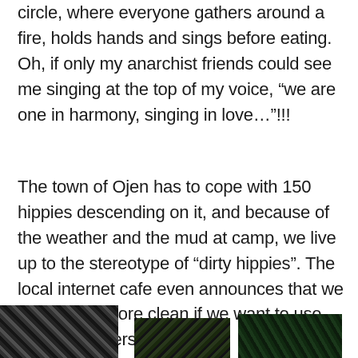circle, where everyone gathers around a fire, holds hands and sings before eating. Oh, if only my anarchist friends could see me singing at the top of my voice, “we are one in harmony, singing in love…”!!!
The town of Ojen has to cope with 150 hippies descending on it, and because of the weather and the mud at camp, we live up to the stereotype of “dirty hippies”. The local internet cafe even announces that we need to be more clean if we want to use their computers!
[Figure (photo): Bottom strip showing three partially visible photographs, mostly dark/black and white, depicting outdoor scenes, cropped at page bottom.]